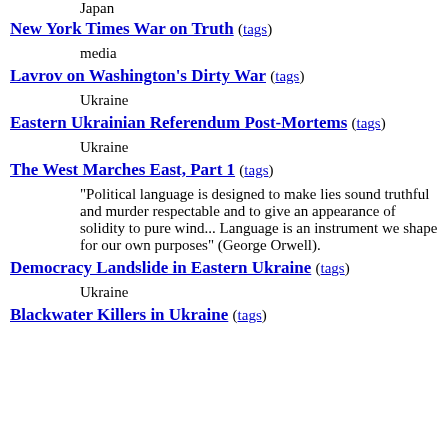Japan
New York Times War on Truth (tags)
media
Lavrov on Washington's Dirty War (tags)
Ukraine
Eastern Ukrainian Referendum Post-Mortems (tags)
Ukraine
The West Marches East, Part 1 (tags)
"Political language is designed to make lies sound truthful and murder respectable and to give an appearance of solidity to pure wind... Language is an instrument we shape for our own purposes" (George Orwell).
Democracy Landslide in Eastern Ukraine (tags)
Ukraine
Blackwater Killers in Ukraine (tags)